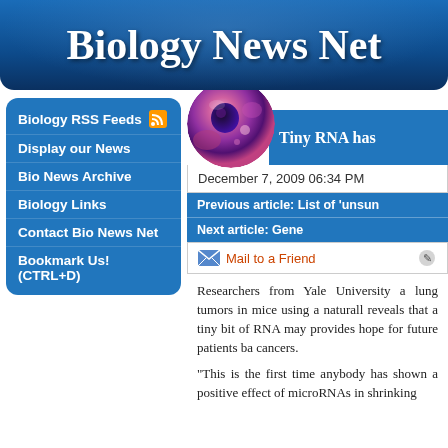Biology News Net
Biology RSS Feeds
Display our News
Bio News Archive
Biology Links
Contact Bio News Net
Bookmark Us! (CTRL+D)
[Figure (photo): Microscope image of a cell, circular crop, pink/purple stained cell biology image]
Tiny RNA has
December 7, 2009 06:34 PM
Previous article: List of 'unsun
Next article: Gene
Mail to a Friend
Researchers from Yale University a lung tumors in mice using a naturall reveals that a tiny bit of RNA may provides hope for future patients ba cancers.
"This is the first time anybody has shown a positive effect of microRNAs in shrinking